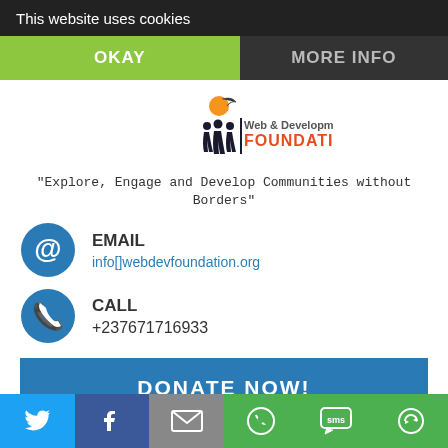This website uses cookies
OKAY
MORE INFO
[Figure (logo): Web & Development Foundation logo with orange circle, black figures, and colored text]
"Explore, Engage and Develop Communities without Borders"
EMAIL
info[]webdevfoundation.org
CALL
+237671716933
DONATE NOW!
[Figure (infographic): Social share bar with Twitter, Facebook, Email, WhatsApp, SMS, and share icons]